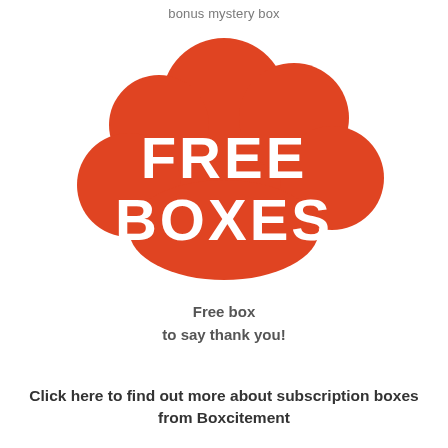bonus mystery box
[Figure (illustration): Red cloud shape with white text 'FREE BOXES' inside]
Free box
to say thank you!
Click here to find out more about subscription boxes from Boxcitement